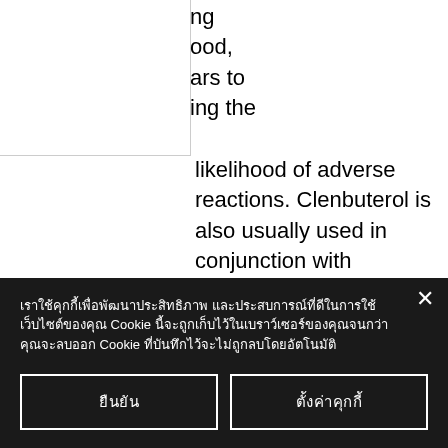ng ood, ars to ing the likelihood of adverse reactions. Clenbuterol is also usually used in conjunction with medications to control breathing or to manage high blood pressure, steroids good to lose weight. It is well tolerated and has low side effects, steroids good to lose weight. It has been used by the military since the 1940s. The dose is taken once per day with food. Clenbuterol was recently evaluated during a pilot study by the US Air Force, steroids good to lose weight. It has
เราใช้คุกกี้เพื่อพัฒนาประสิทธิภาพ และประสบการณ์ที่ดีในการใช้เว็บไซต์ของคุณ Cookie นี้จะถูกเก็บไว้ในเบราว์เซอร์ของคุณจนกว่าคุณจะลบออก Cookie ที่บันทึกไว้จะไม่ถูกลบโดยอัตโนมัติ